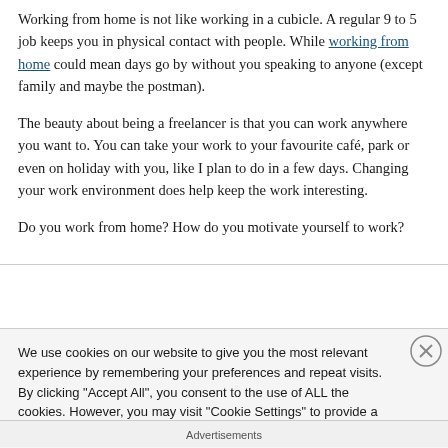Working from home is not like working in a cubicle. A regular 9 to 5 job keeps you in physical contact with people. While working from home could mean days go by without you speaking to anyone (except family and maybe the postman).
The beauty about being a freelancer is that you can work anywhere you want to. You can take your work to your favourite café, park or even on holiday with you, like I plan to do in a few days. Changing your work environment does help keep the work interesting.
Do you work from home? How do you motivate yourself to work?
We use cookies on our website to give you the most relevant experience by remembering your preferences and repeat visits. By clicking "Accept All", you consent to the use of ALL the cookies. However, you may visit "Cookie Settings" to provide a controlled consent.
Advertisements